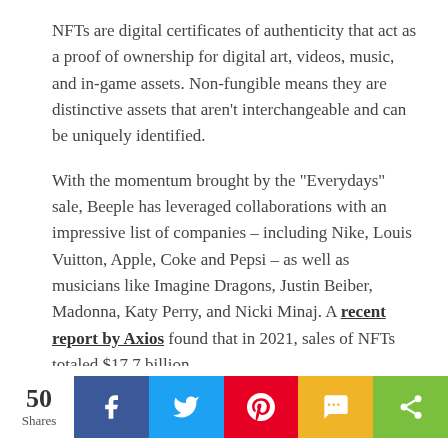NFTs are digital certificates of authenticity that act as a proof of ownership for digital art, videos, music, and in-game assets. Non-fungible means they are distinctive assets that aren't interchangeable and can be uniquely identified.
With the momentum brought by the "Everydays" sale, Beeple has leveraged collaborations with an impressive list of companies – including Nike, Louis Vuitton, Apple, Coke and Pepsi – as well as musicians like Imagine Dragons, Justin Beiber, Madonna, Katy Perry, and Nicki Minaj. A recent report by Axios found that in 2021, sales of NFTs totaled $17.7 billion.
[Figure (infographic): Social share bar showing 50 Shares count, and buttons for Facebook, Twitter, Pinterest, SMS, and generic share.]